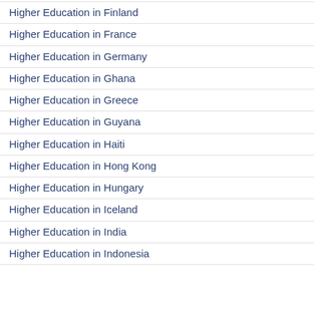Higher Education in Finland
Higher Education in France
Higher Education in Germany
Higher Education in Ghana
Higher Education in Greece
Higher Education in Guyana
Higher Education in Haiti
Higher Education in Hong Kong
Higher Education in Hungary
Higher Education in Iceland
Higher Education in India
Higher Education in Indonesia